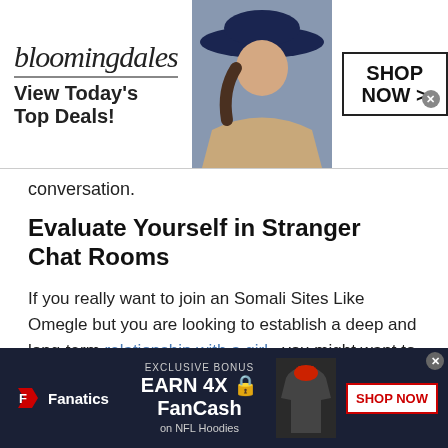[Figure (screenshot): Bloomingdale's advertisement banner with logo, tagline 'View Today's Top Deals!', model photo, and 'SHOP NOW >' button]
conversation.
Evaluate Yourself in Stranger Chat Rooms
If you really want to join an Somali Sites Like Omegle but you are looking to establish a deep and long-term relationship with a girl , you might want to evaluate yourself first. A deep and meaningful relationship is not based on any physical aspect of the other person.
If you feel like people only speak to you because of your
[Figure (screenshot): Fanatics advertisement: EXCLUSIVE BONUS EARN 4X FanCash on NFL Hoodies, with SHOP NOW button]